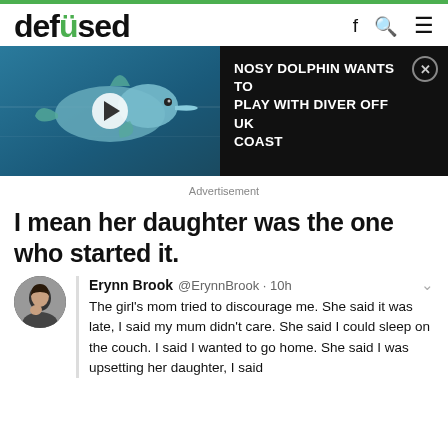defused
[Figure (screenshot): Video thumbnail showing a dolphin underwater with a play button overlay, alongside a black panel with the video title 'NOSY DOLPHIN WANTS TO PLAY WITH DIVER OFF UK COAST']
Advertisement
I mean her daughter was the one who started it.
Erynn Brook @ErynnBrook · 10h
The girl's mom tried to discourage me. She said it was late, I said my mum didn't care. She said I could sleep on the couch. I said I wanted to go home. She said I was upsetting her daughter, I said